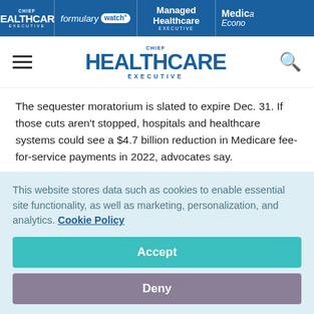Chief Healthcare Executive | Formulary Watch | Managed Healthcare Executive | Medical Economics
[Figure (logo): Chief Healthcare Executive logo in navigation bar with hamburger menu and search icon]
The sequester moratorium is slated to expire Dec. 31. If those cuts aren't stopped, hospitals and healthcare systems could see a $4.7 billion reduction in Medicare fee-for-service payments in 2022, advocates say.
The “pay-as-you-go” rule refers to a 2010 federal law that says spending bills can’t add to the budget deficit over a 5- or 10-
This website stores data such as cookies to enable essential site functionality, as well as marketing, personalization, and analytics. Cookie Policy
Accept
Deny